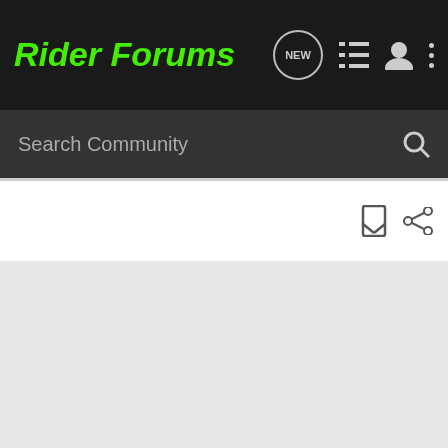Rider Forums
Search Community
[Figure (screenshot): Gray advertisement area placeholder]
biketechted · Registered 🇺🇸
Joined Nov 12, 2009 · 185 Posts
#5 · Sep 28, 2010
Zaph s...
I think ... when